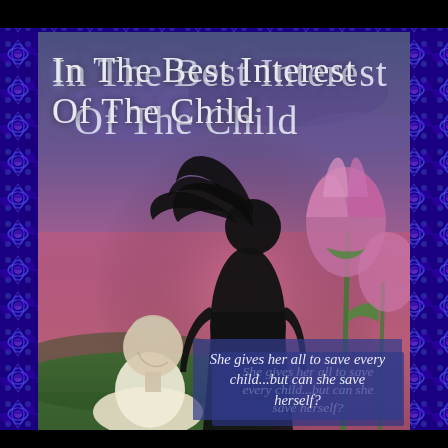[Figure (illustration): Book cover for 'In The Best Interest Of The Child'. Features a moody twilight sky with purple and pink hues. A dark silhouette of a woman with flowing hair stands prominently in the center. Pink tulip flowers are visible on the right side. In the lower left, an elderly man with a white shirt is shown looking downward. The title text appears in large silver/white serif letters at the top. A semi-transparent blue tagline box in the lower right reads: 'She gives her all to save every child...but can she save herself?' The cover is surrounded by a blue kaleidoscopic fractal pattern border.]
In The Best Interest Of The Child
She gives her all to save every child...but can she save herself?